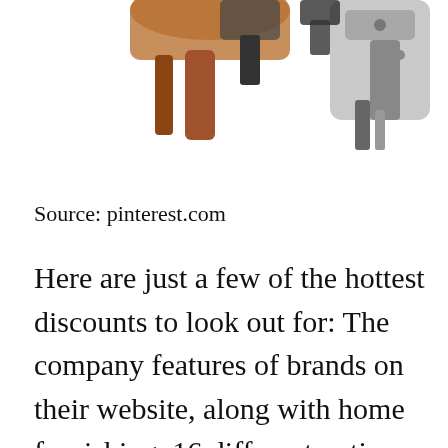[Figure (photo): Partial view of electrical tools or pipe connectors on a white background, cropped at top of page]
Source: pinterest.com
Here are just a few of the hottest discounts to look out for: The company features of brands on their website, along with home furnishing. 16 different options to choose from. Free shipping on orders $45+, or free instore pickup. Klein is one of the most popular brands in the electrical industry and are leaders in the maintenance